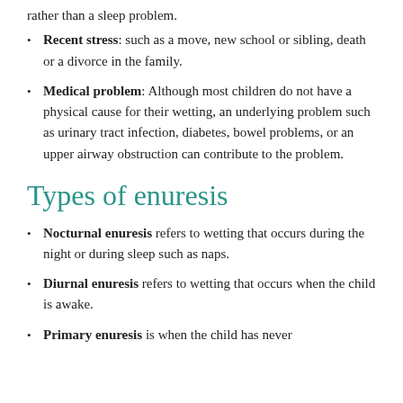Recent stress: such as a move, new school or sibling, death or a divorce in the family.
Medical problem: Although most children do not have a physical cause for their wetting, an underlying problem such as urinary tract infection, diabetes, bowel problems, or an upper airway obstruction can contribute to the problem.
Types of enuresis
Nocturnal enuresis refers to wetting that occurs during the night or during sleep such as naps.
Diurnal enuresis refers to wetting that occurs when the child is awake.
Primary enuresis is when the child has never